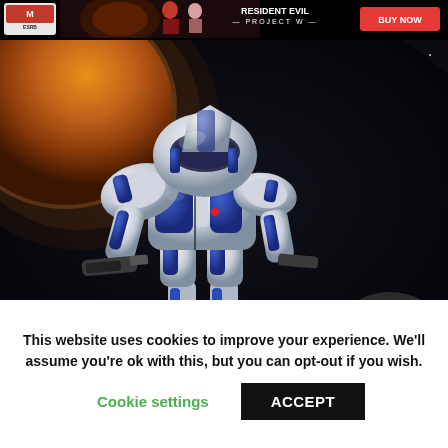[Figure (photo): Banner advertisement for Resident Evil Project W video game with ESRB rating logo on the left, character artwork in center, game title text 'RESIDENT EVIL PROJECT W', and a red 'BUY NOW' button on the right, all on a black background.]
[Figure (photo): A white and blue robotic mech character from a video game, posed in a crouching action stance holding a weapon, set against a dark outer-space background with a large planet visible in the upper left and rocky asteroids in the lower right.]
This website uses cookies to improve your experience. We'll assume you're ok with this, but you can opt-out if you wish.
Cookie settings
ACCEPT